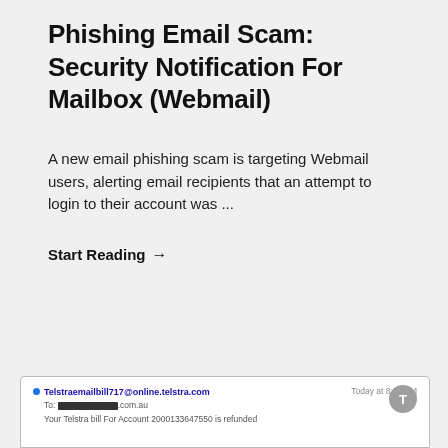Phishing Email Scam: Security Notification For Mailbox (Webmail)
A new email phishing scam is targeting Webmail users, alerting email recipients that an attempt to login to their account was ...
Start Reading →
[Figure (screenshot): Screenshot of an email from Telstraemailbill717@online.telstra.com, timestamped 'Today at 8:56 AM', To: [redacted].com.au, Subject: Your Telstra bill For Account 2000133647550 is refunded]